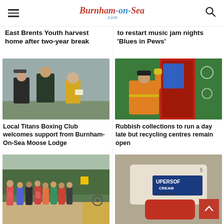Burnham-on-Sea.com
East Brents Youth harvest home after two-year break
to restart music jam nights 'Blues in Pews'
[Figure (photo): Three men standing outdoors; one in a cap and black shirt, one in a black tank top, one in a yellow shirt holding a paper/envelope]
Local Titans Boxing Club welcomes support from Burnham-On-Sea Moose Lodge
[Figure (photo): Worker in orange high-visibility jacket placing blue bag into recycling collection vehicle with colourful bins]
Rubbish collections to run a day late but recycling centres remain open
[Figure (photo): Group of people standing on a street corner holding signs, hedgerow and yellow road signs in background]
[Figure (photo): Close-up of a plastic bottle or container with partial text reading 'UPERSOF CREAM HAMPOO']